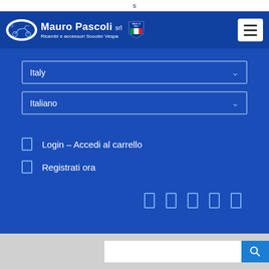s
[Figure (logo): Mauro Pascoli srl logo with scooter oval emblem, brand name, tagline 'Ricambi e accessori Scooter Vespa', Italian flag badge, and hamburger menu button]
Italy
Italiano
Login – Accedi al carrello
Registrati ora
[Figure (infographic): Row of 5 social media icon placeholders rendered as rectangles]
[Figure (screenshot): Bottom search bar section with white input field and blue search button with magnifier icon]